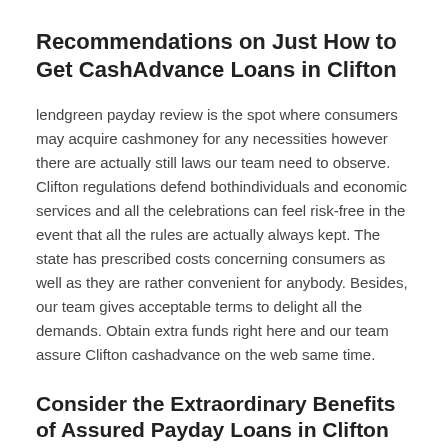Recommendations on Just How to Get CashAdvance Loans in Clifton
lendgreen payday review is the spot where consumers may acquire cashmoney for any necessities however there are actually still laws our team need to observe. Clifton regulations defend bothindividuals and economic services and all the celebrations can feel risk-free in the event that all the rules are actually always kept. The state has prescribed costs concerning consumers as well as they are rather convenient for anybody. Besides, our team gives acceptable terms to delight all the demands. Obtain extra funds right here and our team assure Clifton cashadvance on the web same time.
Consider the Extraordinary Benefits of Assured Payday Loans in Clifton NJ